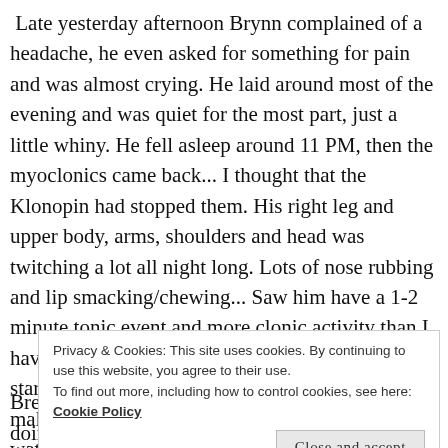Late yesterday afternoon Brynn complained of a headache, he even asked for something for pain and was almost crying. He laid around most of the evening and was quiet for the most part, just a little whiny. He fell asleep around 11 PM, then the myoclonics came back... I thought that the Klonopin had stopped them. His right leg and upper body, arms, shoulders and head was twitching a lot all night long. Lots of nose rubbing and lip smacking/chewing... Saw him have a 1-2 minute tonic event and more clonic activity than I have ever seen in him without the typical tonic start. I don't know if this is due to the Klonopin making him sleep so hard or if I am just not watching closely enough and am missing the tonic part or if it is a new thing. The Neuro said
Privacy & Cookies: This site uses cookies. By continuing to use this website, you agree to their use. To find out more, including how to control cookies, see here: Cookie Policy
Brett would pick today to not cooperate at all in doing his